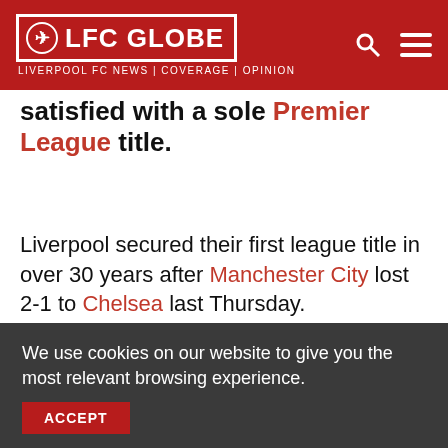LFC GLOBE — LIVERPOOL FC NEWS | COVERAGE | OPINION
satisfied with a sole Premier League title.
Liverpool secured their first league title in over 30 years after Manchester City lost 2-1 to Chelsea last Thursday.
We use cookies on our website to give you the most relevant browsing experience.